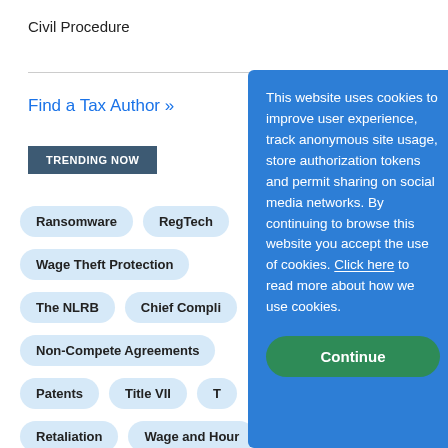Civil Procedure
Find a Tax Author »
TRENDING NOW
Ransomware
RegTech
Wage Theft Protection
The NLRB
Chief Compli…
Non-Compete Agreements
Patents
Title VII
T…
Retaliation
Wage and Hour
This website uses cookies to improve user experience, track anonymous site usage, store authorization tokens and permit sharing on social media networks. By continuing to browse this website you accept the use of cookies. Click here to read more about how we use cookies.
Continue